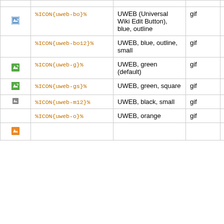|  | Code | Description | Type | Size |
| --- | --- | --- | --- | --- |
| [icon] | %ICON{uweb-bo}% | UWEB (Universal Wiki Edit Button), blue, outline | gif | 16x16 |
|  | %ICON{uweb-bo12}% | UWEB, blue, outline, small | gif | 12x12 |
| [icon] | %ICON{uweb-g}% | UWEB, green (default) | gif | 16x16 |
| [icon] | %ICON{uweb-gs}% | UWEB, green, square | gif | 16x16 |
| [icon] | %ICON{uweb-m12}% | UWEB, black, small | gif | 12x12 |
|  | %ICON{uweb-o}% | UWEB, orange | gif | 16x16 |
| [icon] |  |  |  |  |